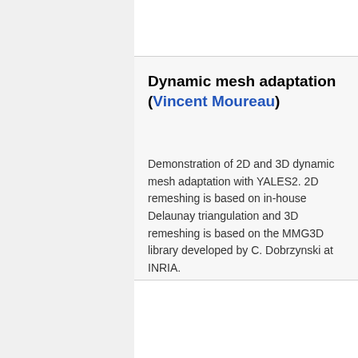Dynamic mesh adaptation (Vincent Moureau)
Demonstration of 2D and 3D dynamic mesh adaptation with YALES2. 2D remeshing is based on in-house Delaunay triangulation and 3D remeshing is based on the MMG3D library developed by C. Dobrzynski at INRIA.